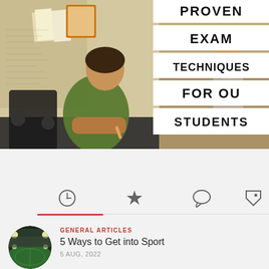[Figure (photo): Student studying at desk with notes on wall, split with another classroom photo. Overlaid white title bands read: PROVEN / EXAM / TECHNIQUES / FOR OU / STUDENTS]
EXAM TECHNIQUES FOR OU STUDENTS
[Figure (infographic): Navigation icon bar with clock, star, comment bubble, and tag icons, with red underline under first tab]
GENERAL ARTICLES
5 Ways to Get into Sport
5 AUG, 2022